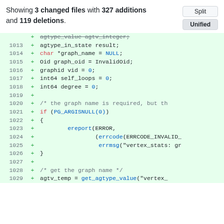Showing 3 changed files with 327 additions and 119 deletions.
[Figure (screenshot): Git diff view showing added lines 1013-1029 of C source code with line numbers, plus signs, and syntax highlighting on green background]
Split | Unified buttons